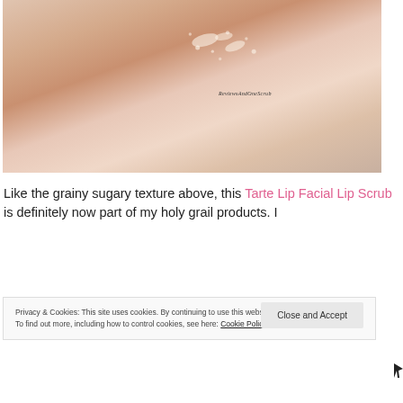[Figure (photo): Close-up photo of a person's wrist/forearm skin with a grainy, sugary scrub texture visible on the surface. Watermark reads 'ReviewsAndOneScrub' in script font.]
Like the grainy sugary texture above, this Tarte Lip Facial Lip Scrub is definitely now part of my holy grail products. I
Privacy & Cookies: This site uses cookies. By continuing to use this website, you agree to their use.
To find out more, including how to control cookies, see here: Cookie Policy